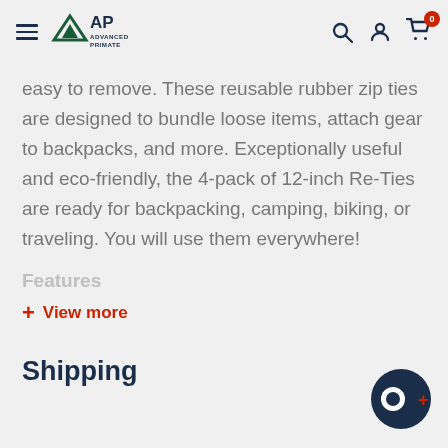Advanced Primate navigation bar with logo, search, account, and cart icons
easy to remove. These reusable rubber zip ties are designed to bundle loose items, attach gear to backpacks, and more. Exceptionally useful and eco-friendly, the 4-pack of 12-inch Re-Ties are ready for backpacking, camping, biking, or traveling. You will use them everywhere!
Features
+ View more
Shipping